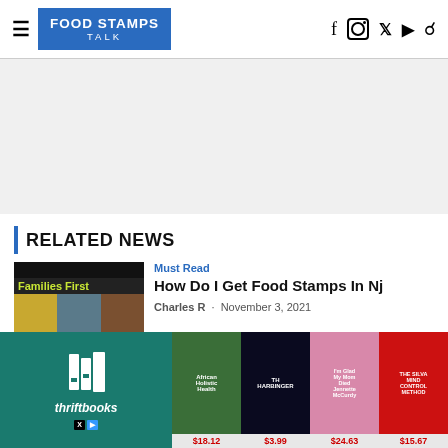FOOD STAMPS TALK
[Figure (screenshot): Advertisement / blank space area]
RELATED NEWS
[Figure (photo): Families First book cover image]
Must Read
How Do I Get Food Stamps In Nj
Charles R · November 3, 2021
[Figure (illustration): Thriftbooks advertisement banner with book covers: African Holistic Health $18.12, The Harbinger $3.99, I'm Glad My Mom Died (Jennette McCurdy) $24.63, The Silva Mind Control Method $15.67]